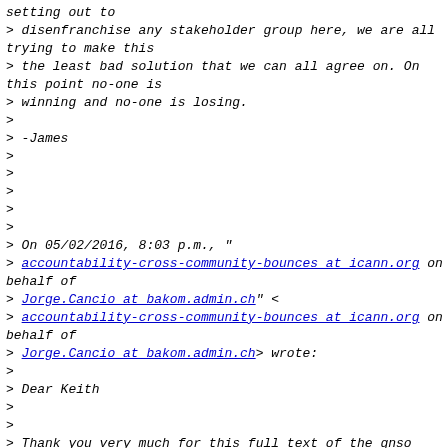setting out to
> disenfranchise any stakeholder group here, we are all trying to make this
> the least bad solution that we can all agree on. On this point no-one is
> winning and no-one is losing.
>
> -James
>
>
>
>
>
> On 05/02/2016, 8:03 p.m., "
> accountability-cross-community-bounces at icann.org on behalf of
> Jorge.Cancio at bakom.admin.ch" <
> accountability-cross-community-bounces at icann.org on behalf of
> Jorge.Cancio at bakom.admin.ch> wrote:
>
> Dear Keith
>
>
> Thank you very much for this full text of the gnso input.
>
>
> I'm aware if the concerns expressed by the gnso, and as I have said
> several times, I consider them legitimate and